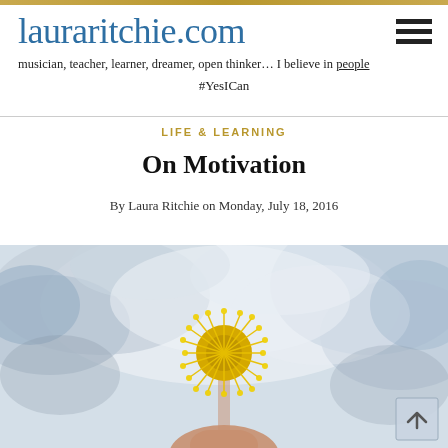lauraritchie.com
musician, teacher, learner, dreamer, open thinker… I believe in people
#YesICan
LIFE & LEARNING
On Motivation
By Laura Ritchie on Monday, July 18, 2016
[Figure (photo): A yellow fluffy flower (dandelion-like) held by fingers against a blurred blue and white sky background]